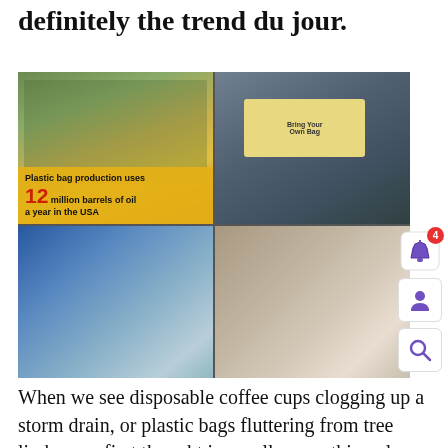definitely the trend du jour.
[Figure (photo): Four-photo grid: top-left shows protesters at a plastic bag ban rally with a sign reading 'Plastic bag production uses 12 million barrels of oil a year in the USA'; top-right shows a billboard reading 'Bring Your Own Bag'; bottom-left shows a group of people posing with collected plastic bags; bottom-right shows students and adults holding signs at an indoor event.]
When we see disposable coffee cups clogging up a storm drain, or plastic bags fluttering from tree limbs, our first thought is usually something along the lines of, “ugh, people are so disgusting!” And I must admit that when I first became involved with Trash Academy in